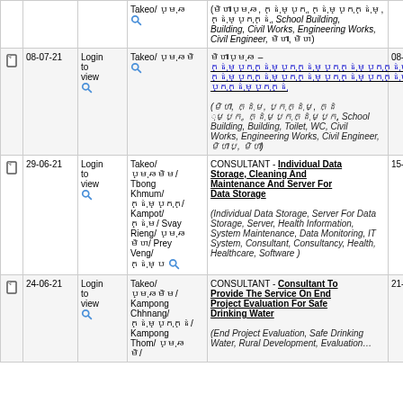|  | Date | Login | Location | Description | Deadline |
| --- | --- | --- | --- | --- | --- |
|  |  |  | Takeo/ [khmer] | (khmer text), School Building, Building, Civil Works, Engineering Works, Civil Engineer, [khmer]) |  |
| doc | 08-07-21 | Login to view | Takeo/ [khmer] | [khmer] - [khmer link title] ([khmer], School Building, Building, Toilet, WC, Civil Works, Engineering Works, Civil Engineer, [khmer]) | 08-08-2... |
| doc | 29-06-21 | Login to view | Takeo/ [khmer]/ Tbong Khmum/ [khmer]/ Kampot/ [khmer]/ Svay Rieng/ [khmer]/ Prey Veng/ [khmer] | CONSULTANT - Individual Data Storage, Cleaning And Maintenance And Server For Data Storage (Individual Data Storage, Server For Data Storage, Server, Health Information, System Maintenance, Data Monitoring, IT System, Consultant, Consultancy, Health, Healthcare, Software) | 15-07-2... |
| doc | 24-06-21 | Login to view | Takeo/ [khmer]/ Kampong Chhnang/ [khmer]/ Kampong Thom/ [khmer]/ | CONSULTANT - Consultant To Provide The Service On End Project Evaluation For Safe Drinking Water (End Project Evaluation, Safe Drinking Water, Rural Development, Evaluation) | 21-06-2... |